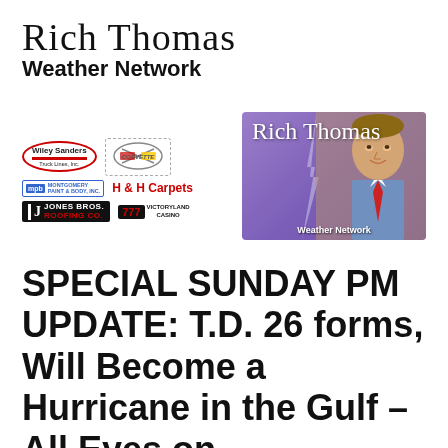Rich Thomas Weather Network
[Figure (logo): Rich Thomas Weather Network banner with sponsor logos (Wiley Sanders Truck Lines, Corvette logo, Montgomery Paint & Body, H & H Carpets, Jones Bros. Roofing Co., Victoryland Casino) and Rich Thomas photo on purple background]
SPECIAL SUNDAY PM UPDATE: T.D. 26 forms, Will Become a Hurricane in the Gulf – All Eyes on